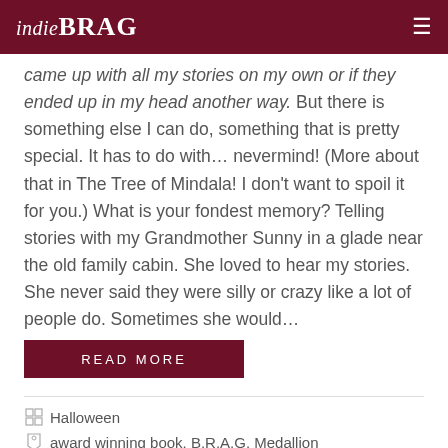indieBRAG
came up with all my stories on my own or if they ended up in my head another way. But there is something else I can do, something that is pretty special. It has to do with… nevermind! (More about that in The Tree of Mindala! I don't want to spoil it for you.) What is your fondest memory? Telling stories with my Grandmother Sunny in a glade near the old family cabin. She loved to hear my stories. She never said they were silly or crazy like a lot of people do. Sometimes she would…
READ MORE
Halloween
award winning book, B.R.A.G. Medallion